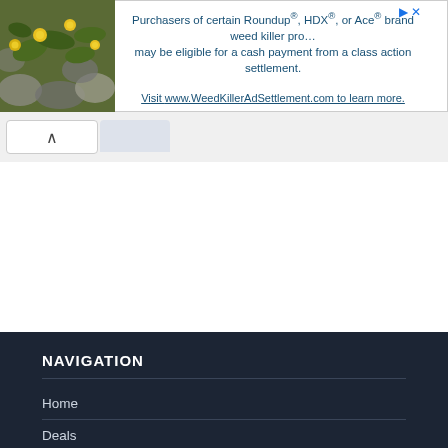[Figure (photo): Photo of yellow flowers and green leaves on a stone background, used as part of an advertisement banner.]
Purchasers of certain Roundup®, HDX®, or Ace® brand weed killer products may be eligible for a cash payment from a class action settlement. Visit www.WeedKillerAdSettlement.com to learn more.
NAVIGATION
Home
Deals
Tutorials
Buzz
Youtube